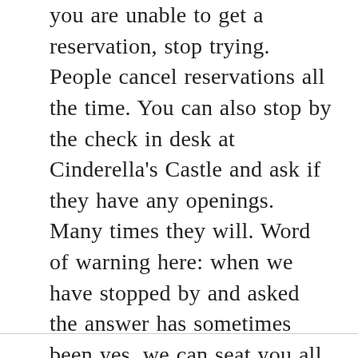you are unable to get a reservation, stop trying. People cancel reservations all the time. You can also stop by the check in desk at Cinderella's Castle and ask if they have any openings. Many times they will. Word of warning here: when we have stopped by and asked the answer has sometimes been yes, we can seat you all right now if your party is all here. So if you stop by to ask, have your entire party there with you, ready to possibly go in and eat.